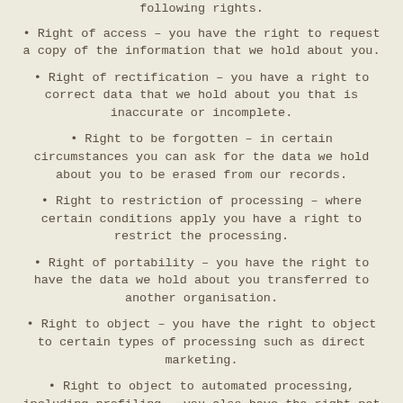• Right of access – you have the right to request a copy of the information that we hold about you.
• Right of rectification – you have a right to correct data that we hold about you that is inaccurate or incomplete.
• Right to be forgotten – in certain circumstances you can ask for the data we hold about you to be erased from our records.
• Right to restriction of processing – where certain conditions apply you have a right to restrict the processing.
• Right of portability – you have the right to have the data we hold about you transferred to another organisation.
• Right to object – you have the right to object to certain types of processing such as direct marketing.
• Right to object to automated processing, including profiling – you also have the right not to be subject to the legal effects of automated processing or profiling.
In the event that Osteopaths refuses your request under rights of access, we will provide you with a reason as to why, which you have the right to legally challenge. At your request Osteopaths can confirm what information it holds about you.